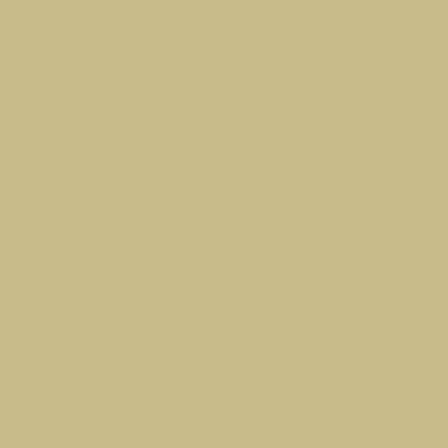ove
blu
ribb
labe
tho
ado
teer
eye
and
the
ova
gen
foil
are
som
of
the
piec
fro
anti
[Figure (photo): Partial image of a hand/finger, skin tones visible, cropped at right edge of page]